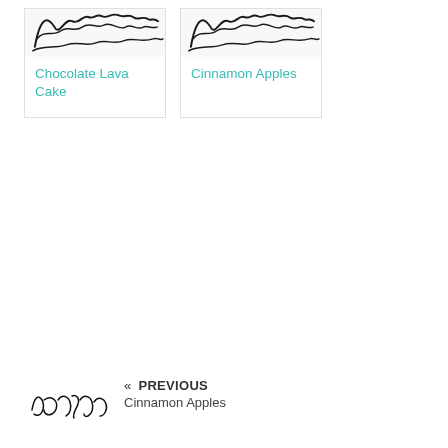[Figure (illustration): Card thumbnail with handwriting/scribble image for Chocolate Lava Cake]
Chocolate Lava Cake
[Figure (illustration): Card thumbnail with handwriting/scribble image for Cinnamon Apples]
Cinnamon Apples
[Figure (illustration): Handwritten signature/text reading Pots Ros or similar, used as navigation image]
« PREVIOUS Cinnamon Apples